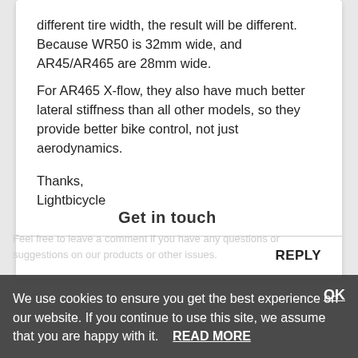different tire width, the result will be different. Because WR50 is 32mm wide, and AR45/AR465 are 28mm wide. For AR465 X-flow, they also have much better lateral stiffness than all other models, so they provide better bike control, not just aerodynamics.
Thanks,
Lightbicycle
REPLY
We use cookies to ensure you get the best experience on our website. If you continue to use this site, we assume that you are happy with it.   READ MORE
Get in touch
Feel free to leave a comment if you have any questions or suggestions on our products or other issues.
OK